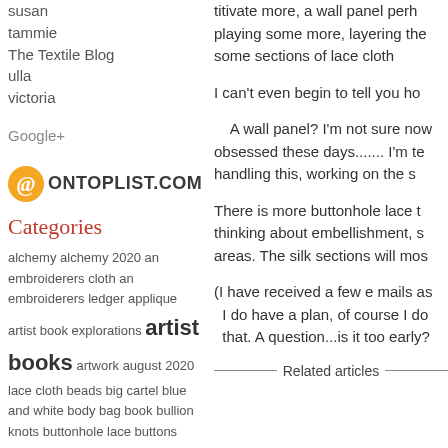susan
tammie
The Textile Blog
ulla
victoria
Google+
[Figure (logo): ontoplist.com badge with orange @ symbol]
Categories
alchemy alchemy 2020 an embroiderers cloth an embroiderers ledger applique artist book explorations artist books artwork august 2020 lace cloth beads big cartel blue and white body bag book bullion knots buttonhole lace buttons charm square cloth cloth book cloth doodle collage colour
titivate more, a wall panel perh playing some more, layering the some sections of lace cloth
I can't even begin to tell you ho
A wall panel? I'm not sure now obsessed these days....... I'm te handling this, working on the s
There is more buttonhole lace t thinking about embellishment, s areas. The silk sections will mos
(I have received a few e mails as I do have a plan, of course I do that. A question...is it too early?
Related articles